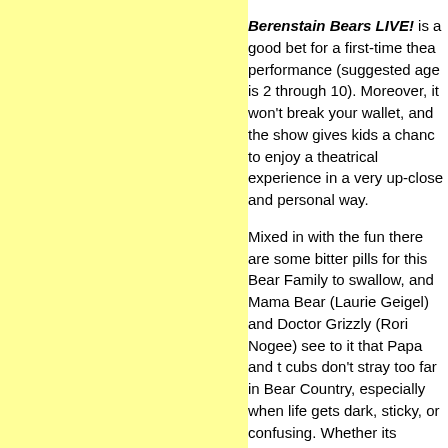Berenstain Bears LIVE! is a good bet for a first-time theatergoer's performance (suggested age is 2 through 10). Moreover, it won't break your wallet, and the show gives kids a chance to enjoy a theatrical experience in a very up-close and personal way.
Mixed in with the fun there are some bitter pills for this Bear Family to swallow, and Mama Bear (Laurie Geigel) and Doctor Grizzly (Rori Nogee) see to it that Papa and the cubs don't stray too far in Bear Country, especially when life gets dark, sticky, or confusing. Whether its Brother Bear's (Alex Goley) school grades slipping, Sister Bear's (Jill Kurzner) overfriendliness to strangers at the Village Green, or Papa Bear's (Ryan Scarlata) very fluffy belly, life in Bear Country can be quite unbearable (get it?).
The performances are suitably sincere and warm. Mama and Papa Bear Laurie Geigel and Ryan Scarlata show parental aplomb, knowing when to give their cubs a bear hug or simply put their paw down. And Jill Kurzner and Alex Goley, playing Brother and Sister Bear, are quite adept at showing that life in Bear Country is no picnic. In the supporting role of Dr. Grizzly, Rori Nogee exudes good sense. And Gramps as played by Ben Thorpe, subtly adds the idea of three generations living in harmony.
Be sure to leave time for the post-show activity for your young cubs which allows kids to try their hand at face-painting, or to snag an autograph from a cast member (the back cover of the "Bearbill" has lots of space for